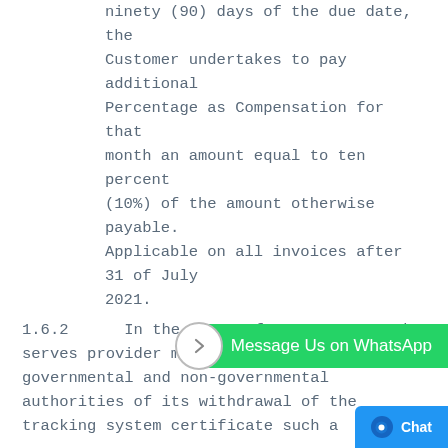ninety (90) days of the due date, the Customer undertakes to pay additional Percentage as Compensation for that month an amount equal to ten percent (10%) of the amount otherwise payable. Applicable on all invoices after 31 of July 2021.
1.6.2      In the event of non-payment, the serves provider may inform the relevant governmental and non-governmental authorities of its withdrawal of the tracking system certificate such a
1.7   Debt Collection
1.7.1      The Customer agrees that the Service Provider may appoint any person as its agent ("debt collection agent") to collect any amount